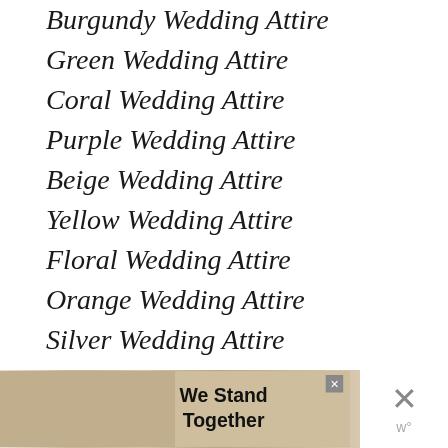Burgundy Wedding Attire
Green Wedding Attire
Coral Wedding Attire
Purple Wedding Attire
Beige Wedding Attire
Yellow Wedding Attire
Floral Wedding Attire
Orange Wedding Attire
Silver Wedding Attire
Gray Wedding Attire
Gold Wedding Attire
[Figure (other): Advertisement banner showing people with arms around each other, text reading 'We Stand Together']